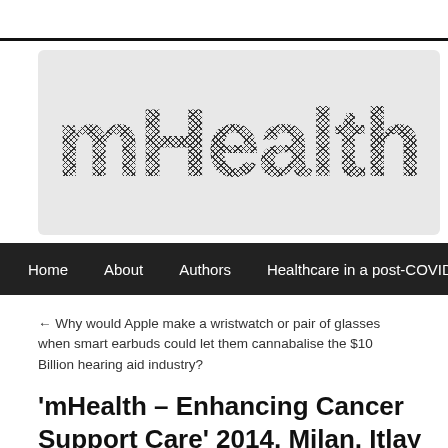[Figure (logo): mHealth Intelligence website logo banner — large bold crosshatch-textured text reading 'mHealth In...' on a light grey rounded rectangle background]
Home   About   Authors   Healthcare in a post-COVID19 world
← Why would Apple make a wristwatch or pair of glasses when smart earbuds could let them cannabalise the $10 Billion hearing aid industry?
'mHealth – Enhancing Cancer Support Care' 2014, Milan, Itlay